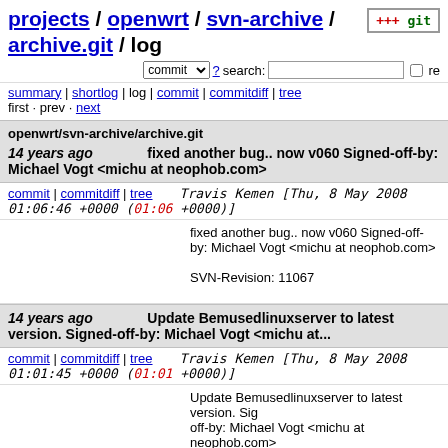projects / openwrt / svn-archive / archive.git / log
commit  ? search:  re
summary | shortlog | log | commit | commitdiff | tree
first · prev · next
openwrt/svn-archive/archive.git
14 years ago   fixed another bug.. now v060 Signed-off-by: Michael Vogt <michu at neophob.com>
commit | commitdiff | tree   Travis Kemen [Thu, 8 May 2008 01:06:46 +0000 (01:06 +0000)]
fixed another bug.. now v060 Signed-off-by: Michael Vogt <michu at neophob.com>

SVN-Revision: 11067
14 years ago   Update Bemusedlinuxserver to latest version. Signed-off-by: Michael Vogt <michu at...
commit | commitdiff | tree   Travis Kemen [Thu, 8 May 2008 01:01:45 +0000 (01:01 +0000)]
Update Bemusedlinuxserver to latest version. Signed-off-by: Michael Vogt <michu at neophob.com>